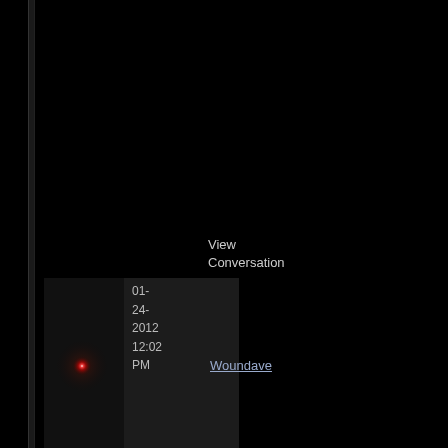View Conversation
[Figure (screenshot): User avatar thumbnail with glowing red light effect on dark background]
01-24-2012 12:02 PM
Woundave